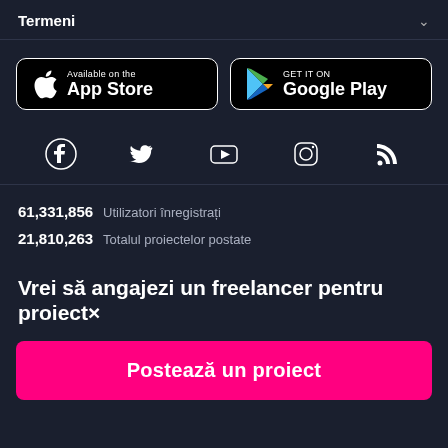Termeni
[Figure (logo): App Store and Google Play download buttons side by side on dark background]
[Figure (infographic): Social media icons row: Facebook, Twitter, YouTube, Instagram, RSS]
61,331,856 Utilizatori înregistrați
21,810,263 Totalul proiectelor postate
Vrei să angajezi un freelancer pentru proiect×
Postează un proiect